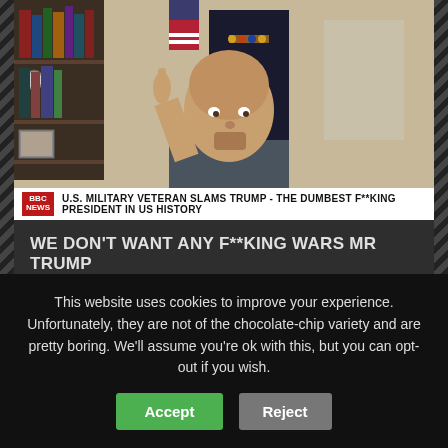[Figure (screenshot): Video screenshot of a man pointing his finger, with a bookshelf and military uniforms visible in the background. A BBC News ticker bar at the bottom reads: U.S. MILITARY VETERAN SLAMS TRUMP - THE DUMBEST F**KING PRESIDENT IN US HISTORY]
WE DON'T WANT ANY F**KING WARS MR TRUMP
By OYE NEWS | Apr 7, 2017 | World At War | 1 | ★★★★★
U.S. Military Veteran Angelo Gage goes off on President Donald Trump for believing in the chemical
This website uses cookies to improve your experience. Unfortunately, they are not of the chocolate-chip variety and are pretty boring. We'll assume you're ok with this, but you can opt-out if you wish.
Accept   Reject